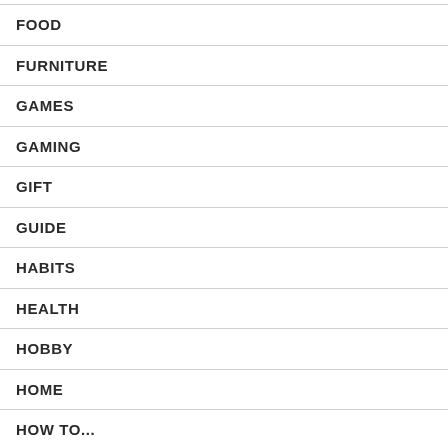FOOD
FURNITURE
GAMES
GAMING
GIFT
GUIDE
HABITS
HEALTH
HOBBY
HOME
HOW TO...
INDUSTRY